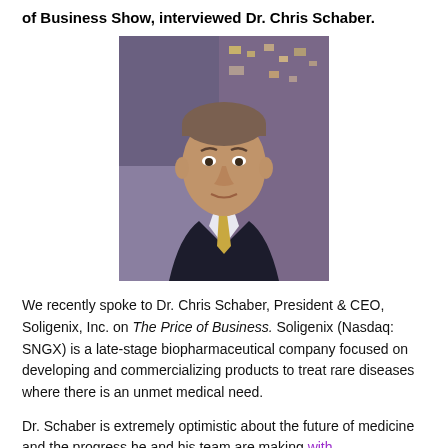of Business Show, interviewed Dr. Chris Schaber.
[Figure (photo): Professional headshot of Dr. Chris Schaber, a middle-aged man in a dark suit with a gold tie, photographed against a blurred city background.]
We recently spoke to Dr. Chris Schaber, President & CEO, Soligenix, Inc. on The Price of Business. Soligenix (Nasdaq: SNGX) is a late-stage biopharmaceutical company focused on developing and commercializing products to treat rare diseases where there is an unmet medical need.
Dr. Schaber is extremely optimistic about the future of medicine and the progress he and his team are making with